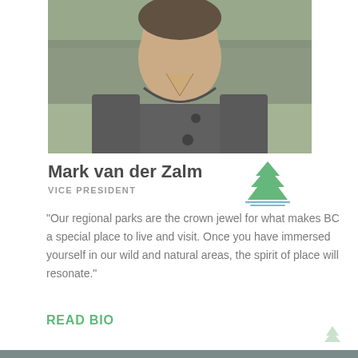[Figure (photo): Headshot photo of Mark van der Zalm, a man in a dark grey sweater over a plaid shirt, photographed against a blurred green outdoor background]
Mark van der Zalm
[Figure (logo): Green stylized tree/nature logo with horizontal lines beneath]
VICE PRESIDENT
“Our regional parks are the crown jewel for what makes BC a special place to live and visit. Once you have immersed yourself in our wild and natural areas, the spirit of place will resonate.”
READ BIO